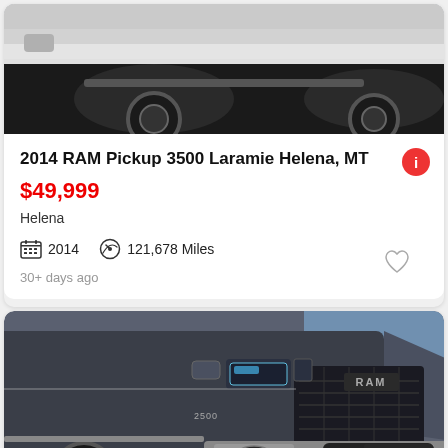[Figure (photo): Close-up photo of a white RAM pickup truck (2014 RAM 3500 Laramie), showing the front wheel, fender flare, and side of the vehicle]
2014 RAM Pickup 3500 Laramie Helena, MT
$49,999
Helena
2014   121,678 Miles
30+ days ago
[Figure (photo): Front 3/4 angle photo of a dark gray/charcoal RAM pickup truck, showing the RAM grille badge, headlights, and front fascia. 'See photo >' overlay in bottom right.]